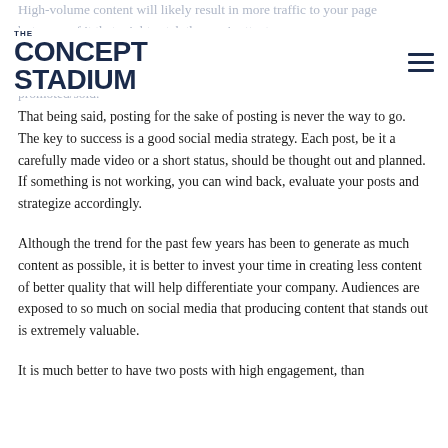High-volume content will likely result in more traffic to your page but more of it that might catch the user's attention. However, although it is important to drive traffic, it must be the right kind of traffic: that is actually interested in what is being promoted/sold.
[Figure (logo): The Concept Stadium logo - dark navy text with 'THE' small above large 'CONCEPT STADIUM' text]
That being said, posting for the sake of posting is never the way to go. The key to success is a good social media strategy. Each post, be it a carefully made video or a short status, should be thought out and planned. If something is not working, you can wind back, evaluate your posts and strategize accordingly.
Although the trend for the past few years has been to generate as much content as possible, it is better to invest your time in creating less content of better quality that will help differentiate your company. Audiences are exposed to so much on social media that producing content that stands out is extremely valuable.
It is much better to have two posts with high engagement, than